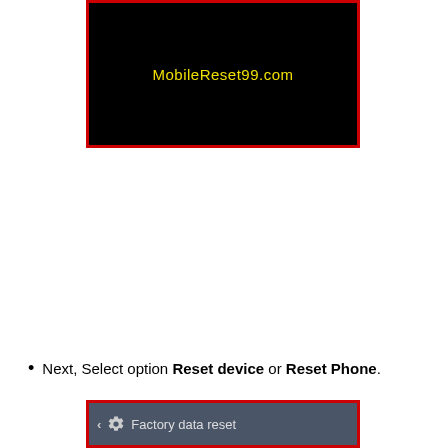[Figure (screenshot): Black screen with yellow text 'MobileReset99.com', framed by a red border]
Next, Select option Reset device or Reset Phone.
[Figure (screenshot): Android settings bar showing 'Factory data reset' with gear icon, framed by a red border]